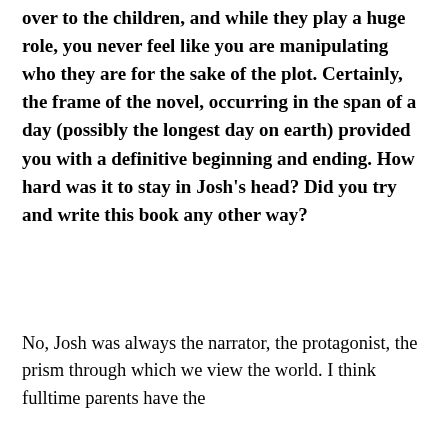over to the children, and while they play a huge role, you never feel like you are manipulating who they are for the sake of the plot. Certainly, the frame of the novel, occurring in the span of a day (possibly the longest day on earth) provided you with a definitive beginning and ending. How hard was it to stay in Josh's head? Did you try and write this book any other way?
No, Josh was always the narrator, the protagonist, the prism through which we view the world. I think fulltime parents have the